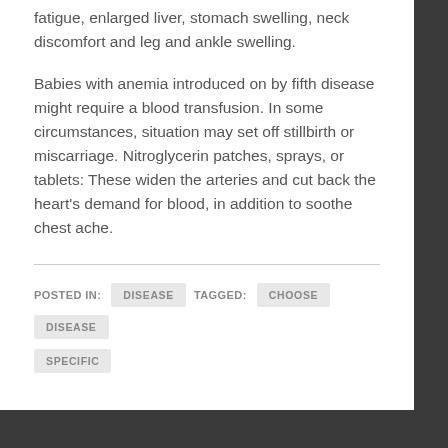fatigue, enlarged liver, stomach swelling, neck discomfort and leg and ankle swelling.
Babies with anemia introduced on by fifth disease might require a blood transfusion. In some circumstances, situation may set off stillbirth or miscarriage. Nitroglycerin patches, sprays, or tablets: These widen the arteries and cut back the heart's demand for blood, in addition to soothe chest ache.
POSTED IN: DISEASE  TAGGED: CHOOSE  DISEASE  SPECIFIC